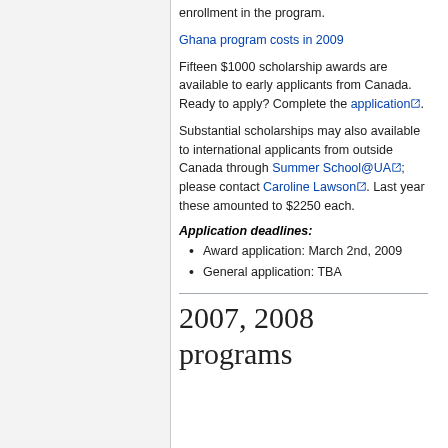enrollment in the program.
Ghana program costs in 2009
Fifteen $1000 scholarship awards are available to early applicants from Canada. Ready to apply? Complete the application.
Substantial scholarships may also available to international applicants from outside Canada through Summer School@UA; please contact Caroline Lawson. Last year these amounted to $2250 each.
Application deadlines:
Award application: March 2nd, 2009
General application: TBA
2007, 2008 programs